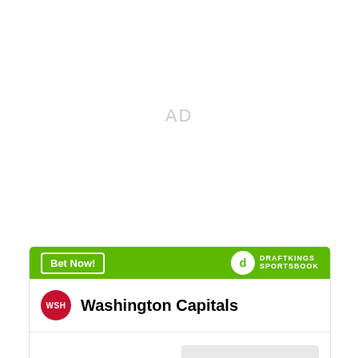AD
[Figure (infographic): DraftKings Sportsbook betting widget for Washington Capitals to win Stanley Cup at +4000 odds. Features a green header with 'Bet Now!' button and DraftKings Sportsbook logo, WSH team badge, team name, bet type, and odds value.]